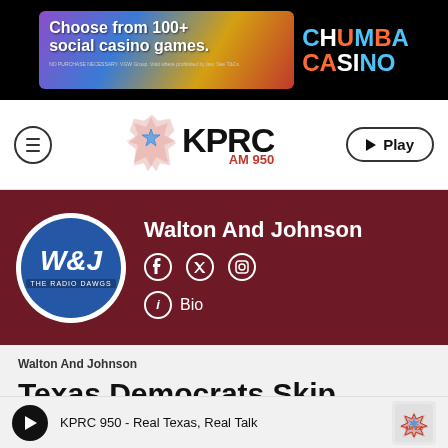[Figure (illustration): Chumba Casino advertisement banner: 'Choose from 100+ social casino games.' with colorful game imagery on black background]
[Figure (logo): KPRC AM 950 radio station logo with Texas star graphic, hamburger menu on left, Play button on right]
[Figure (infographic): Walton And Johnson host profile band with W&J logo circle, social media icons (Facebook, Twitter, Instagram), and Bio link]
Walton And Johnson
Texas Democrats Skip